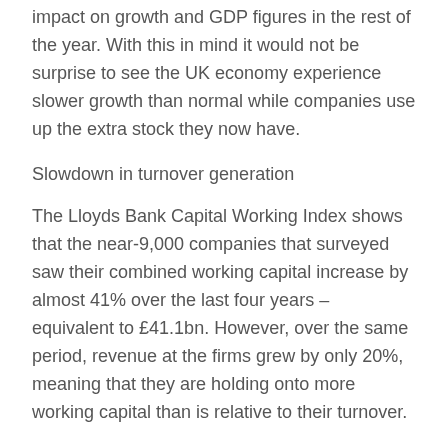impact on growth and GDP figures in the rest of the year. With this in mind it would not be surprise to see the UK economy experience slower growth than normal while companies use up the extra stock they now have.
Slowdown in turnover generation
The Lloyds Bank Capital Working Index shows that the near-9,000 companies that surveyed saw their combined working capital increase by almost 41% over the last four years – equivalent to £41.1bn. However, over the same period, revenue at the firms grew by only 20%, meaning that they are holding onto more working capital than is relative to their turnover.
Meanwhile, over the last three years, the report found that the average cash conversion cycle, a measure of working capital efficiency, for larger firms has increased by just over six days in the last three and at smaller